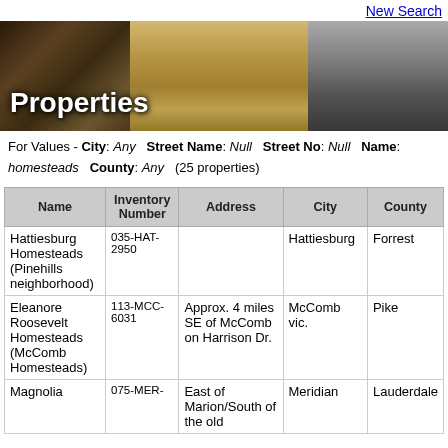New Search
[Figure (photo): Banner with three historical photos of buildings and a street scene, with 'Properties' text overlay in white]
For Values - City: Any   Street Name: Null   Street No: Null   Name: homesteads   County: Any   (25 properties)
| Name | Inventory Number | Address | City | County |
| --- | --- | --- | --- | --- |
| Hattiesburg Homesteads (Pinehills neighborhood) | 035-HAT-2950 |  | Hattiesburg | Forrest |
| Eleanore Roosevelt Homesteads (McComb Homesteads) | 113-MCC-6031 | Approx. 4 miles SE of McComb on Harrison Dr. | McComb vic. | Pike |
| Magnolia | 075-MER- | East of Marion/South of the old | Meridian | Lauderdale |